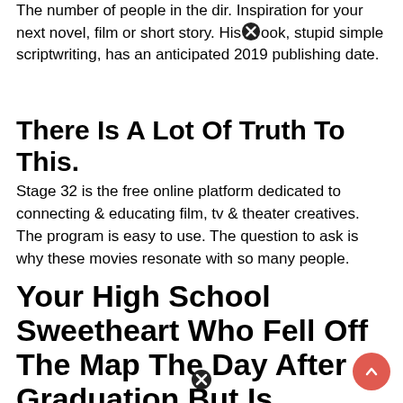The number of people in the dir. Inspiration for your next novel, film or short story. His book, stupid simple scriptwriting, has an anticipated 2019 publishing date.
There Is A Lot Of Truth To This.
Stage 32 is the free online platform dedicated to connecting & educating film, tv & theater creatives. The program is easy to use. The question to ask is why these movies resonate with so many people.
Your High School Sweetheart Who Fell Off The Map The Day After Graduation But Is.